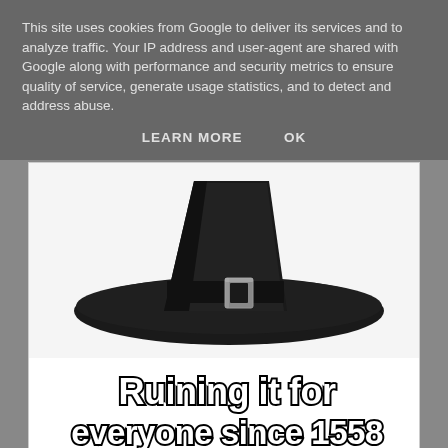This site uses cookies from Google to deliver its services and to analyze traffic. Your IP address and user-agent are shared with Google along with performance and security metrics to ensure quality of service, generate usage statistics, and to detect and address abuse.
LEARN MORE    OK
[Figure (illustration): A black pilgrim hat with a silver buckle, meme-style image. Text below reads 'Ruining it for everyone since 1558'. Footer bar with small website URL text.]